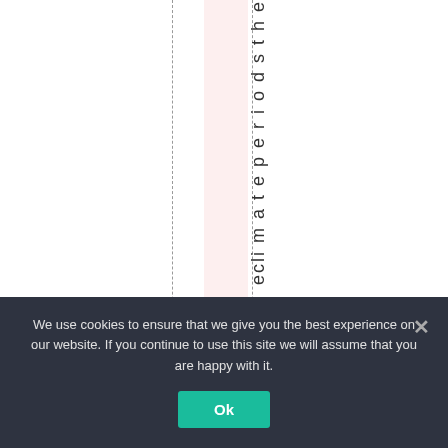[Figure (other): Web page layout fragment showing vertical rotated text reading 'e c l i m a t e p e r i o d s t h e', with a pink vertical band and dashed vertical guide lines on a white background.]
We use cookies to ensure that we give you the best experience on our website. If you continue to use this site we will assume that you are happy with it. Ok ×